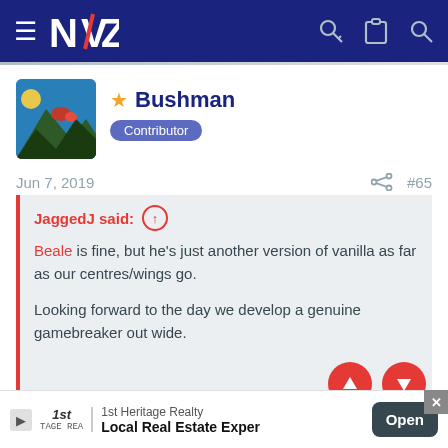NZ Rugby forum navigation bar
★ Bushman
Contributor
Jun 7, 2019
#65
JaggedJ said: ↑
Beale is fine, but he's just another version of vanilla as far as our centres/wings go.
Looking forward to the day we develop a genuine gamebreaker out wide.
Herbert 2020 season?
1st Heritage Realty — Local Real Estate Exper... Open